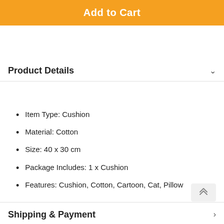Add to Cart
Product Details
Item Type: Cushion
Material: Cotton
Size: 40 x 30 cm
Package Includes: 1 x Cushion
Features: Cushion, Cotton, Cartoon, Cat, Pillow
Shipping & Payment